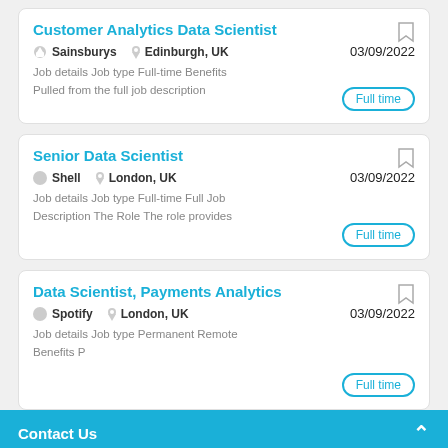Customer Analytics Data Scientist
Sainsburys   Edinburgh, UK   03/09/2022
Job details Job type Full-time Benefits Pulled from the full job description
Full time
Senior Data Scientist
Shell   London, UK   03/09/2022
Job details Job type Full-time Full Job Description The Role The role provides
Full time
Data Scientist, Payments Analytics
Spotify   London, UK   03/09/2022
Job details Job type Permanent Remote Benefits P
Full time
Contact Us